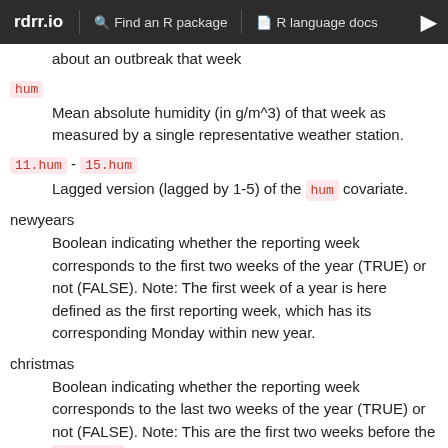rdrr.io  Find an R package  R language docs
about an outbreak that week
hum
Mean absolute humidity (in g/m^3) of that week as measured by a single representative weather station.
11.hum - 15.hum
Lagged version (lagged by 1-5) of the hum covariate.
newyears
Boolean indicating whether the reporting week corresponds to the first two weeks of the year (TRUE) or not (FALSE). Note: The first week of a year is here defined as the first reporting week, which has its corresponding Monday within new year.
christmas
Boolean indicating whether the reporting week corresponds to the last two weeks of the year (TRUE) or not (FALSE). Note: This are the first two weeks before the newyears weeks.
O104period